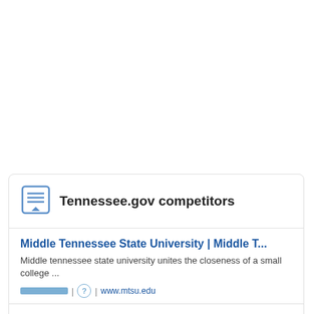Tennessee.gov competitors
Middle Tennessee State University | Middle T...
Middle tennessee state university unites the closeness of a small college ...
| ? | www.mtsu.edu
403 Forbidden
With broad support and encouragement done directly in achieving a run to b